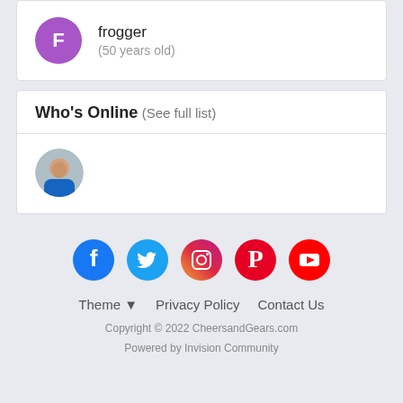frogger (50 years old)
Who's Online (See full list)
[Figure (photo): Circular profile photo of a person in a blue shirt]
[Figure (other): Social media icons: Facebook, Twitter, Instagram, Pinterest, YouTube]
Theme ▼   Privacy Policy   Contact Us
Copyright © 2022 CheersandGears.com
Powered by Invision Community